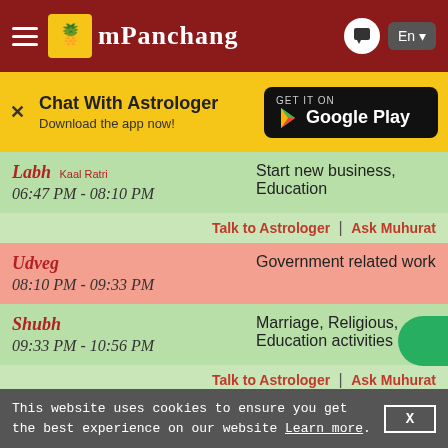mPanchang
Chat With Astrologer
Download the app now!
| Choghadiya / Time | Activities |
| --- | --- |
| Labh (Kaal Ratri)
06:47 PM - 08:10 PM | Start new business, Education |
| Talk to Astrologer | Ask Muhurat |  |
| Udveg
08:10 PM - 09:33 PM | Government related work |
| Shubh
09:33 PM - 10:56 PM | Marriage, Religious, Education activities |
| Talk to Astrologer | Ask Muhurat |  |
| Amrit
10:56 PM - 12:20 AM 03 Sep | All type of works (Specially Milk Product Related) |
This website uses cookies to ensure you get the best experience on our website Learn more.